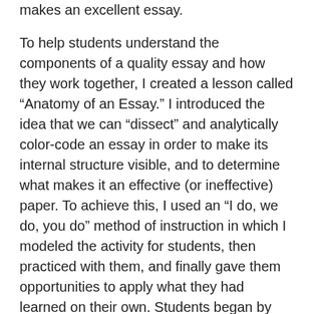makes an excellent essay.

To help students understand the components of a quality essay and how they work together, I created a lesson called “Anatomy of an Essay.” I introduced the idea that we can “dissect” and analytically color-code an essay in order to make its internal structure visible, and to determine what makes it an effective (or ineffective) paper. To achieve this, I used an “I do, we do, you do” method of instruction in which I modeled the activity for students, then practiced with them, and finally gave them opportunities to apply what they had learned on their own. Students began by reading the first page of a sample essay. I then used a digital projector to show them the first paragraph on my computer, which I had already color-coded. All forms of textual evidence are blue, and analysis (the writer’s interpretation of what that evidence means) is green. Major argumentative points are red, and the thesis is circled in red. Black is reserved for correcting style and mechanics. We then color-coded the second paragraph together, and students worked in pairs to code the rest of the essay.